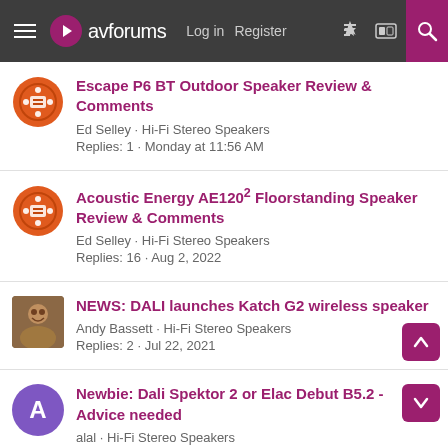avforums — Log in | Register
Escape P6 BT Outdoor Speaker Review & Comments
Ed Selley · Hi-Fi Stereo Speakers
Replies: 1 · Monday at 11:56 AM
Acoustic Energy AE120² Floorstanding Speaker Review & Comments
Ed Selley · Hi-Fi Stereo Speakers
Replies: 16 · Aug 2, 2022
NEWS: DALI launches Katch G2 wireless speaker
Andy Bassett · Hi-Fi Stereo Speakers
Replies: 2 · Jul 22, 2021
Newbie: Dali Spektor 2 or Elac Debut B5.2 - Advice needed
alal · Hi-Fi Stereo Speakers
Replies: 19 · Jun 4, 2022